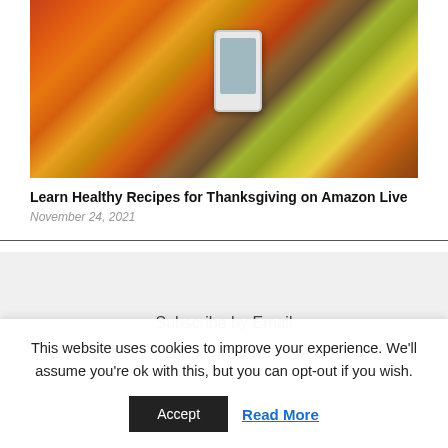[Figure (photo): Person holding a smartphone showing a woman in a kitchen, surrounded by autumn leaves in orange, red, and yellow colors]
Learn Healthy Recipes for Thanksgiving on Amazon Live
November 24, 2021
Subscribe by Email
This website uses cookies to improve your experience. We'll assume you're ok with this, but you can opt-out if you wish.
Accept  Read More